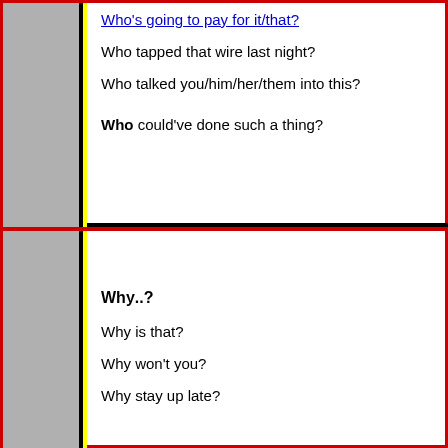Who's going to pay for it/that?
Who tapped that wire last night?
Who talked you/him/her/them into this?
Who could've done such a thing?
Why..?
Why is that?
Why won't you?
Why stay up late?